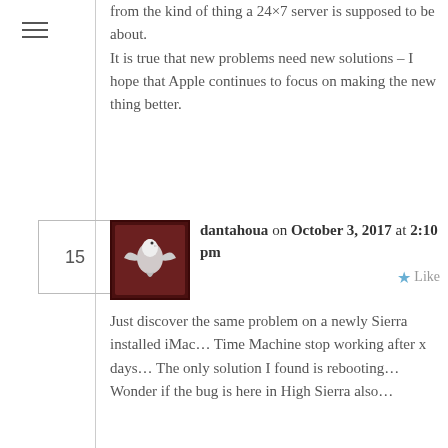from the kind of thing a 24×7 server is supposed to be about.
It is true that new problems need new solutions – I hope that Apple continues to focus on making the new thing better.
dantahoua on October 3, 2017 at 2:10 pm
[Figure (photo): Avatar image of a white bird (dove/hawk) against a dark red/maroon framed background]
Just discover the same problem on a newly Sierra installed iMac… Time Machine stop working after x days… The only solution I found is rebooting… Wonder if the bug is here in High Sierra also…